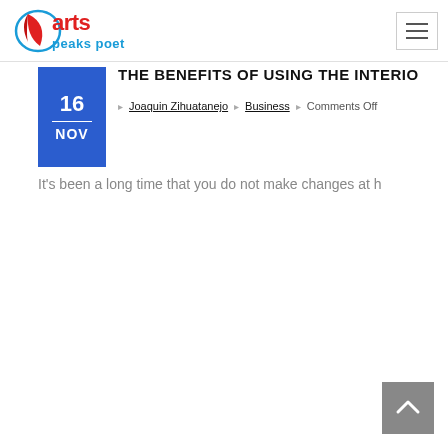arts peaks poet
THE BENEFITS OF USING THE INTERIOR
Joaquin Zihuatanejo  Business  Comments Off
It's been a long time that you do not make changes at h